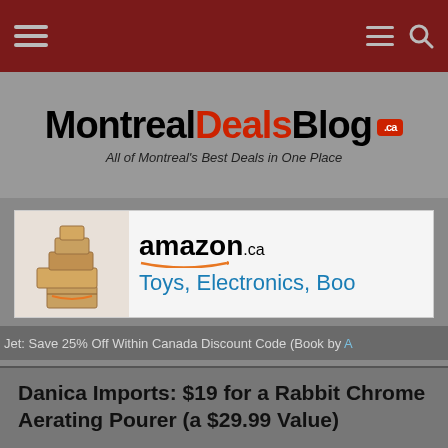MontrealDealsBlog .ca — All of Montreal's Best Deals in One Place
[Figure (screenshot): Amazon.ca advertisement banner: boxes image on left, 'amazon.ca' logo and 'Toys, Electronics, Boo...' text on right]
Jet: Save 25% Off Within Canada Discount Code (Book by A...
Danica Imports: $19 for a Rabbit Chrome Aerating Pourer (a $29.99 Value)